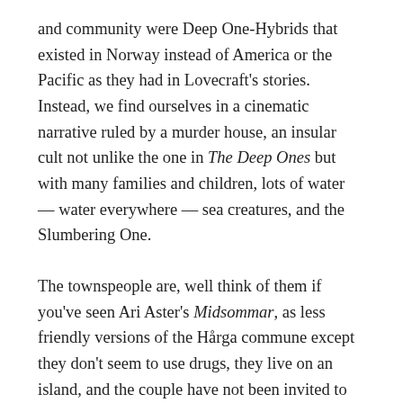and community were Deep One-Hybrids that existed in Norway instead of America or the Pacific as they had in Lovecraft's stories. Instead, we find ourselves in a cinematic narrative ruled by a murder house, an insular cult not unlike the one in The Deep Ones but with many families and children, lots of water — water everywhere — sea creatures, and the Slumbering One.
The townspeople are, well think of them if you've seen Ari Aster's Midsommar, as less friendly versions of the Hårga commune except they don't seem to use drugs, they live on an island, and the couple have not been invited to their shores until they realize who they are. In fact, as the directors and even Paul Kane — whose short stories "Men of the Cloth" and,